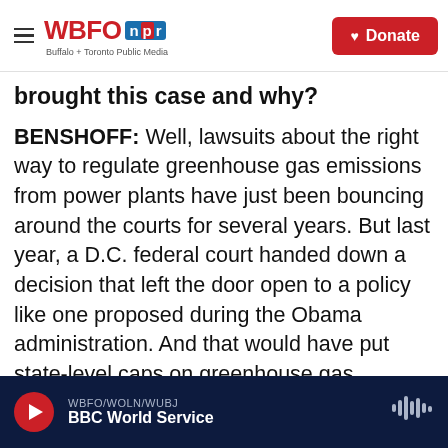WBFO NPR — Buffalo + Toronto Public Media | Donate
brought this case and why?
BENSHOFF: Well, lawsuits about the right way to regulate greenhouse gas emissions from power plants have just been bouncing around the courts for several years. But last year, a D.C. federal court handed down a decision that left the door open to a policy like one proposed during the Obama administration. And that would have put state-level caps on greenhouse gas emissions from power plants. That plan was put on hold years ago. It's not coming back. But more than a dozen GOP attorneys general, as well as some coal companies,
WBFO/WOLN/WUBJ | BBC World Service